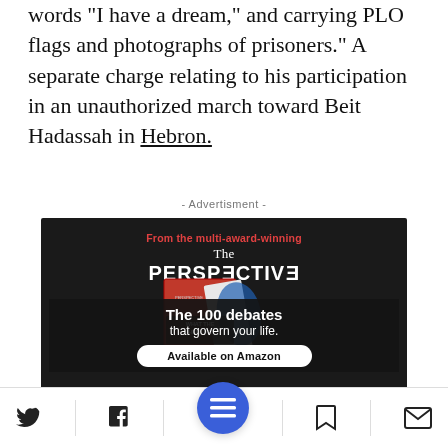words "I have a dream," and carrying PLO flags and photographs of prisoners." A separate charge relating to his participation in an unauthorized march toward Beit Hadassah in Hebron.
- Advertisment -
[Figure (illustration): Advertisement for 'The Perspective' book - From the multi-award-winning, The PERSPECTIVE, showing a book cover with red/blue/white design with text 'WHAT THE HELL ARE...' and banner 'The 100 debates that govern your life.' with 'Available on Amazon' button.]
Twitter | Facebook | Menu | Bookmark | Email